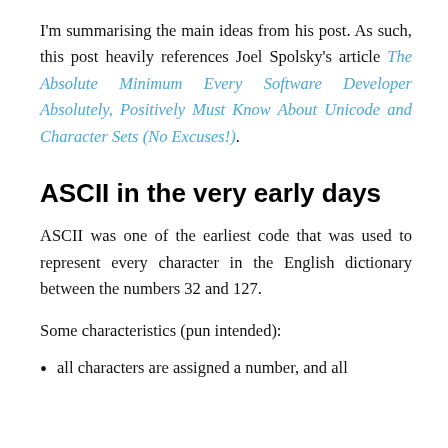I'm summarising the main ideas from his post. As such, this post heavily references Joel Spolsky's article The Absolute Minimum Every Software Developer Absolutely, Positively Must Know About Unicode and Character Sets (No Excuses!).
ASCII in the very early days
ASCII was one of the earliest code that was used to represent every character in the English dictionary between the numbers 32 and 127.
Some characteristics (pun intended):
all characters are assigned a number, and all